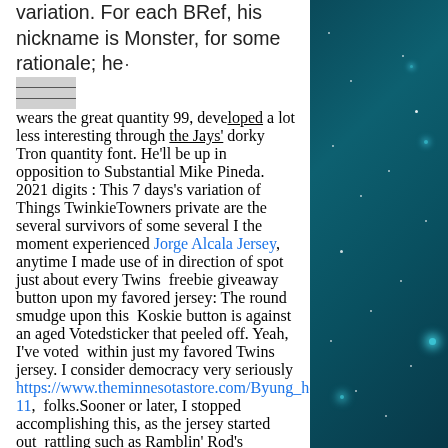variation. For each BRef, his nickname is Monster, for some rationale; he wears the great quantity 99, developed a lot less interesting through the Jays' dorky Tron quantity font. He'll be up in opposition to Substantial Mike Pineda. 2021 digits : This 7 days's variation of Things TwinkieTowners private are the several survivors of some several I the moment experienced Jorge Alcala Jersey, anytime I made use of in direction of spot just about every Twins freebie giveaway button upon my favored jersey: The round smudge upon this Koskie button is against an aged Votedsticker that peeled off. Yeah, I've voted within just my favored Twins jersey. I consider democracy very seriously https://www.theminnesotastore.com/Byung_ho_Park_Jersey-11, folks.Sooner or later, I stopped accomplishing this, as the jersey started out rattling such as Ramblin' Rod's sweater. Who the heck is